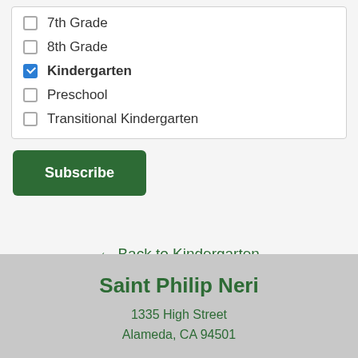7th Grade (unchecked)
8th Grade (unchecked)
Kindergarten (checked)
Preschool (unchecked)
Transitional Kindergarten (unchecked)
Subscribe
← Back to Kindergarten
Saint Philip Neri
1335 High Street
Alameda, CA 94501